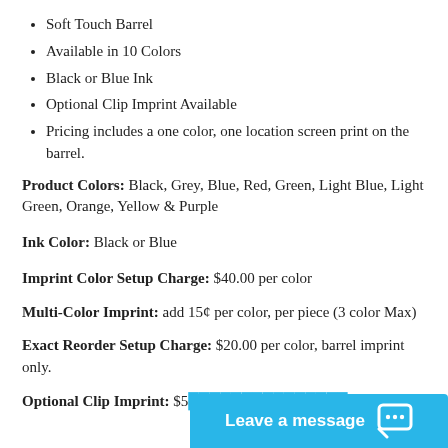Soft Touch Barrel
Available in 10 Colors
Black or Blue Ink
Optional Clip Imprint Available
Pricing includes a one color, one location screen print on the barrel.
Product Colors: Black, Grey, Blue, Red, Green, Light Blue, Light Green, Orange, Yellow & Purple
Ink Color: Black or Blue
Imprint Color Setup Charge: $40.00 per color
Multi-Color Imprint: add 15¢ per color, per piece (3 color Max)
Exact Reorder Setup Charge: $20.00 per color, barrel imprint only.
Optional Clip Imprint: $5...